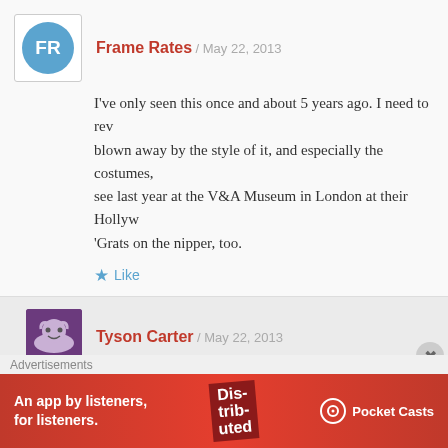[Figure (illustration): Blue circle avatar with white letters FR for Frame Rates user]
Frame Rates / May 22, 2013
I've only seen this once and about 5 years ago. I need to re... blown away by the style of it, and especially the costumes, ... see last year at the V&A Museum in London at their Hollyw... 'Grats on the nipper, too.
Like
[Figure (illustration): Purple square avatar with cartoon face for Tyson Carter]
Tyson Carter / May 22, 2013
You definitely need to revisit!! 🙂
Thats cool you got to see the costumes, they are certainl... Especially Ace's pink suit. Thanks buddy 🙂
Advertisements
[Figure (screenshot): Pocket Casts advertisement banner: An app by listeners, for listeners.]